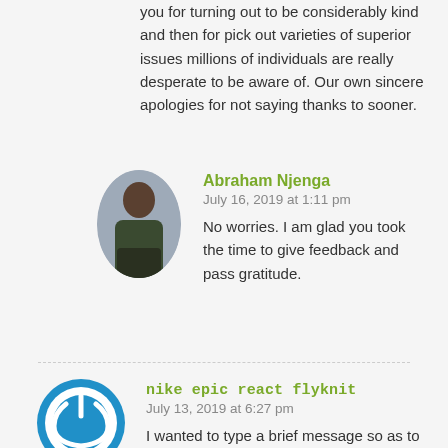you for turning out to be considerably kind and then for pick out varieties of superior issues millions of individuals are really desperate to be aware of. Our own sincere apologies for not saying thanks to sooner.
Abraham Njenga
July 16, 2019 at 1:11 pm
No worries. I am glad you took the time to give feedback and pass gratitude.
nike epic react flyknit
July 13, 2019 at 6:27 pm
I wanted to type a brief message so as to express gratitude to you for some of